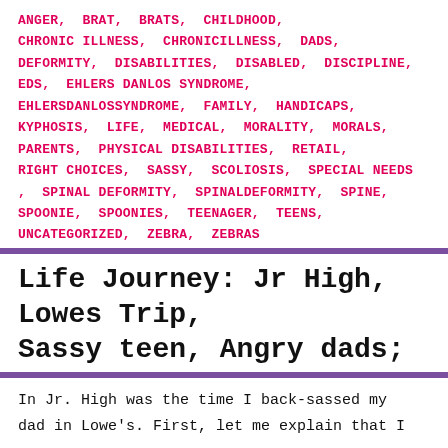ANGER, BRAT, BRATS, CHILDHOOD, CHRONIC ILLNESS, CHRONICILLNESS, DADS, DEFORMITY, DISABILITIES, DISABLED, DISCIPLINE, EDS, EHLERS DANLOS SYNDROME, EHLERSDANLOSSYNDROME, FAMILY, HANDICAPS, KYPHOSIS, LIFE, MEDICAL, MORALITY, MORALS, PARENTS, PHYSICAL DISABILITIES, RETAIL, RIGHT CHOICES, SASSY, SCOLIOSIS, SPECIAL NEEDS, SPINAL DEFORMITY, SPINALDEFORMITY, SPINE, SPOONIE, SPOONIES, TEENAGER, TEENS, UNCATEGORIZED, ZEBRA, ZEBRAS
Life Journey: Jr High, Lowes Trip, Sassy teen, Angry dads; oh my!!
March 21, 2020 jamiesjourney0591
In Jr. High was the time I back-sassed my dad in Lowe's. First, let me explain that I